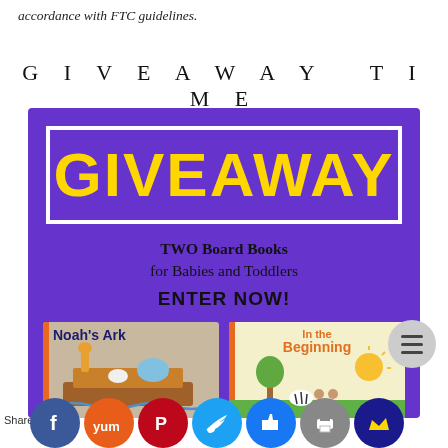accordance with FTC guidelines.
GIVEAWAY TIME
[Figure (infographic): Purple giveaway promotional banner with yellow 'GIVEAWAY' text in white-bordered box, subtitle 'TWO Board Books for Babies and Toddlers', 'ENTER NOW!' call to action, and two children's book covers: Noah's Ark and In the Beginning]
[Figure (infographic): Social media share bar with icons for Facebook, Yummly, Pinterest, Twitter, Like, Print, and Crown/Mailer, with 'Shares' label]